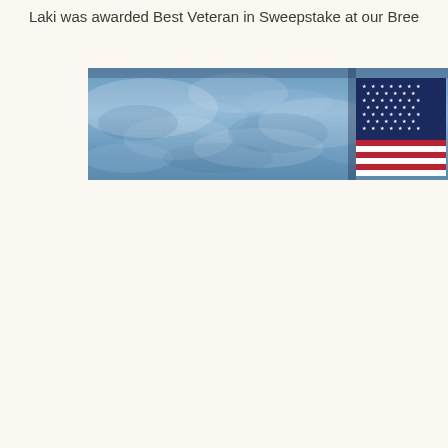Laki was awarded Best Veteran in Sweepstake at our Bree...
[Figure (photo): A horizontal banner image showing a mottled blue background resembling a veterans/patriotic theme, with an American flag visible on the right side showing stars and red/white stripes.]